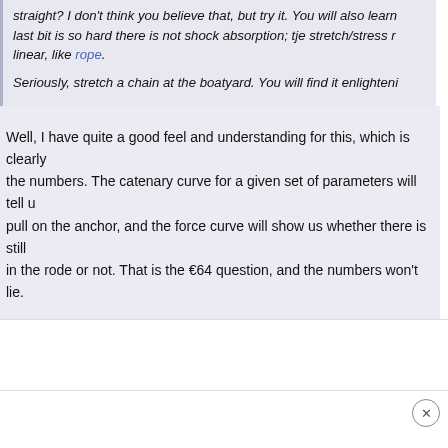straight? I don't think you believe that, but try it. You will also learn last bit is so hard there is not shock absorption; tje stretch/stress r linear, like rope.
Seriously, stretch a chain at the boatyard. You will find it enlighteni
Well, I have quite a good feel and understanding for this, which is clearly the numbers. The catenary curve for a given set of parameters will tell u pull on the anchor, and the force curve will show us whether there is still in the rode or not. That is the €64 question, and the numbers won't lie.